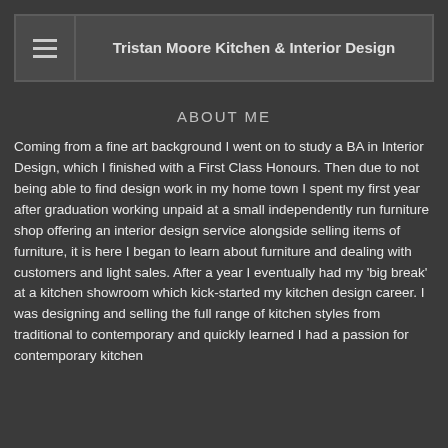Tristan Moore Kitchen & Interior Design
ABOUT ME
Coming from a fine art background I went on to study a BA in Interior Design, which I finished with a First Class Honours. Then due to not being able to find design work in my home town I spent my first year after graduation working unpaid at a small independently run furniture shop offering an interior design service alongside selling items of furniture, it is here I began to learn about furniture and dealing with customers and light sales. After a year I eventually had my 'big break' at a kitchen showroom which kick-started my kitchen design career. I was designing and selling the full range of kitchen styles from traditional to contemporary and quickly learned I had a passion for contemporary kitchen